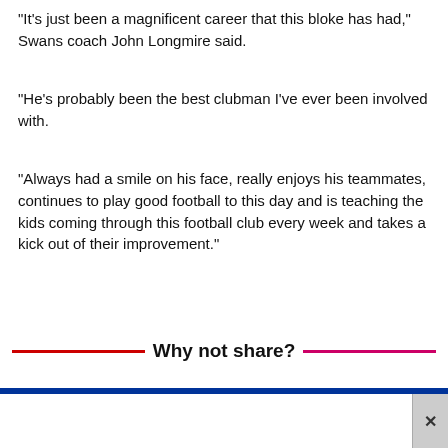"It's just been a magnificent career that this bloke has had," Swans coach John Longmire said.
"He's probably been the best clubman I've ever been involved with.
"Always had a smile on his face, really enjoys his teammates, continues to play good football to this day and is teaching the kids coming through this football club every week and takes a kick out of their improvement."
Why not share?
[Figure (screenshot): Advertisement banner showing 'GET SET TO MELBOURNE' with dark background text on yellow-cream background]